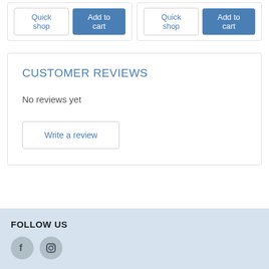Quick shop | Add to cart | Quick shop | Add to cart
CUSTOMER REVIEWS
No reviews yet
Write a review
FOLLOW US